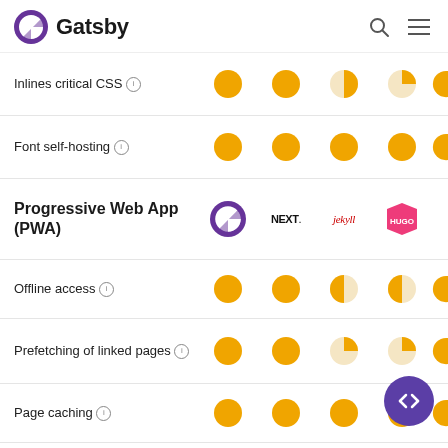Gatsby
| Feature | Gatsby | Next.js | Jekyll | Hugo |
| --- | --- | --- | --- | --- |
| Inlines critical CSS ℹ | full | full | half | quarter |
| Font self-hosting ℹ | full | full | full | full |
| Progressive Web App (PWA) | Gatsby logo | NEXT. logo | Jekyll logo | HUGO logo |
| Offline access ℹ | full | full | half | half |
| Prefetching of linked pages ℹ | full | full | quarter | quarter |
| Page caching ℹ | full | full | full | partial |